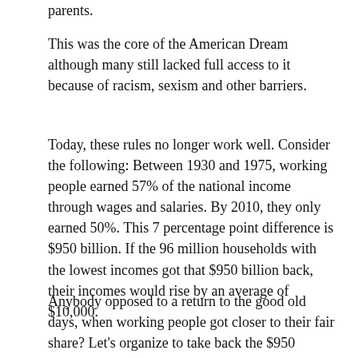parents.
This was the core of the American Dream although many still lacked full access to it because of racism, sexism and other barriers.
Today, these rules no longer work well. Consider the following: Between 1930 and 1975, working people earned 57% of the national income through wages and salaries. By 2010, they only earned 50%. This 7 percentage point difference is $950 billion. If the 96 million households with the lowest incomes got that $950 billion back, their incomes would rise by an average of $10,000.
Anybody opposed to a return to the good old days, when working people got closer to their fair share? Let's organize to take back the $950 billion!